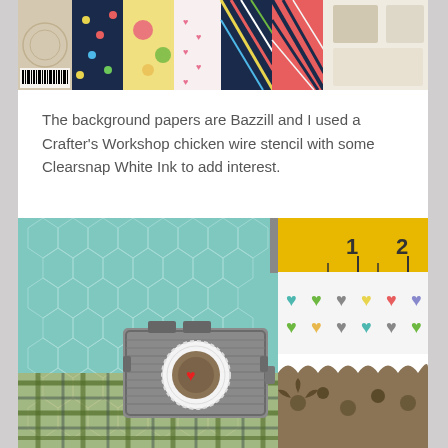[Figure (photo): A fan of colorful patterned scrapbook papers spread out, showing various patterns including floral, polka dots, hearts, stripes, gingham, and plaid designs in navy, yellow, pink, green, red, and teal colors.]
The background papers are Bazzill and I used a Crafter's Workshop chicken wire stencil with some Clearsnap White Ink to add interest.
[Figure (photo): A craft/scrapbooking flat lay showing a teal textured paper with chicken wire stencil pattern in white, a yellow ruler measuring tape, colorful heart-patterned paper, plaid paper, and a decorative paper camera embellishment with a doily and red heart accent.]